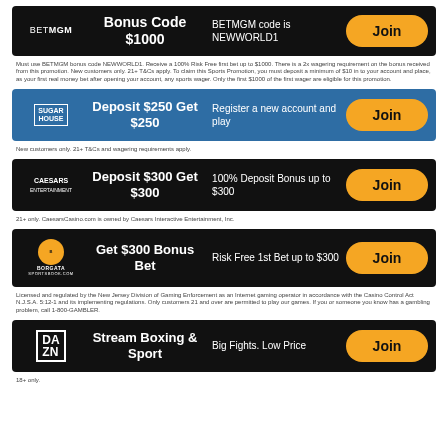[Figure (infographic): BetMGM promotional card: Bonus Code $1000, BETMGM code is NEWWORLD1, Join button]
Must use BETMGM bonus code NEWWORLD1. Receive a 100% Risk Free first bet up to $1000. There is a 2x wagering requirement on the bonus received from this promotion. New customers only. 21+ T&Cs apply. To claim this Sports Promotion, you must deposit a minimum of $10 in to your account and place, as your first real money bet after opening your account, any sports wager. Only the first $1000 of the first wager are eligible for this promotion.
[Figure (infographic): SugarHouse promotional card: Deposit $250 Get $250, Register a new account and play, Join button]
New customers only. 21+ T&Cs and wagering requirements apply.
[Figure (infographic): Caesars promotional card: Deposit $300 Get $300, 100% Deposit Bonus up to $300, Join button]
21+ only. CaesarsCasino.com is owned by Caesars Interactive Entertainment, Inc.
[Figure (infographic): Borgata promotional card: Get $300 Bonus Bet, Risk Free 1st Bet up to $300, Join button]
Licensed and regulated by the New Jersey Division of Gaming Enforcement as an Internet gaming operator in accordance with the Casino Control Act N.J.S.A. 5:12-1 and its implementing regulations. Only customers 21 and over are permitted to play our games. If you or someone you know has a gambling problem, call 1-800-GAMBLER.
[Figure (infographic): DAZN promotional card: Stream Boxing & Sport, Big Fights. Low Price, Join button]
18+ only.